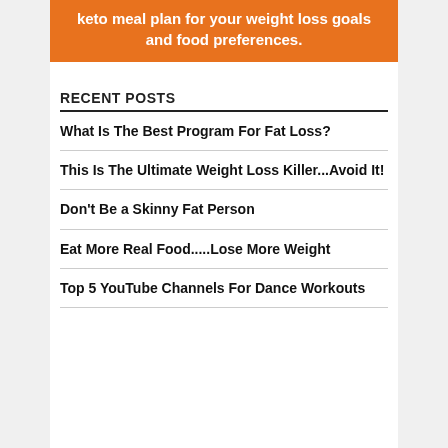[Figure (infographic): Orange banner with white bold text: 'keto meal plan for your weight loss goals and food preferences.']
RECENT POSTS
What Is The Best Program For Fat Loss?
This Is The Ultimate Weight Loss Killer...Avoid It!
Don't Be a Skinny Fat Person
Eat More Real Food.....Lose More Weight
Top 5 YouTube Channels For Dance Workouts